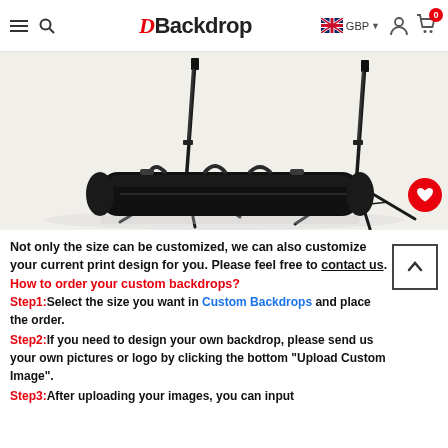DBackdrop | GBP | Account | Cart (0)
[Figure (photo): Product photo showing two black photography backdrop stands (tripod style) with a black carrying bag laid in front, on a light background.]
Not only the size can be customized, we can also customize your current print design for you. Please feel free to contact us.
How to order your custom backdrops?
Step1:Select the size you want in Custom Backdrops and place the order.
Step2:If you need to design your own backdrop, please send us your own pictures or logo by clicking the bottom "Upload Custom Image".
Step3:After uploading your images, you can input